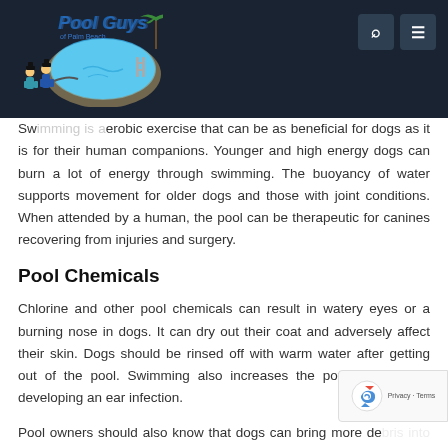Pool Guys of Palm Beach
Swimming is aerobic exercise that can be as beneficial for dogs as it is for their human companions. Younger and high energy dogs can burn a lot of energy through swimming. The buoyancy of water supports movement for older dogs and those with joint conditions. When attended by a human, the pool can be therapeutic for canines recovering from injuries and surgery.
Pool Chemicals
Chlorine and other pool chemicals can result in watery eyes or a burning nose in dogs. It can dry out their coat and adversely affect their skin. Dogs should be rinsed off with warm water after getting out of the pool. Swimming also increases the potential of dogs developing an ear infection.
Pool owners should also know that dogs can bring more debris into the pool than humans, especially long-haired breeds. Loose fur can come off in the pool and that will have an impact on filtration